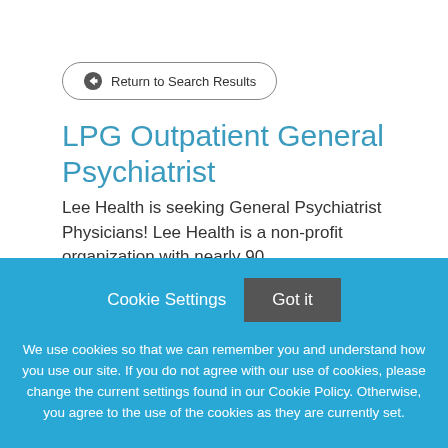← Return to Search Results
LPG Outpatient General Psychiatrist
Lee Health is seeking General Psychiatrist Physicians! Lee Health is a non-profit organization with nearly 90
Cookie Settings
Got it
We use cookies so that we can remember you and understand how you use our site. If you do not agree with our use of cookies, please change the current settings found in our Cookie Policy. Otherwise, you agree to the use of the cookies as they are currently set.